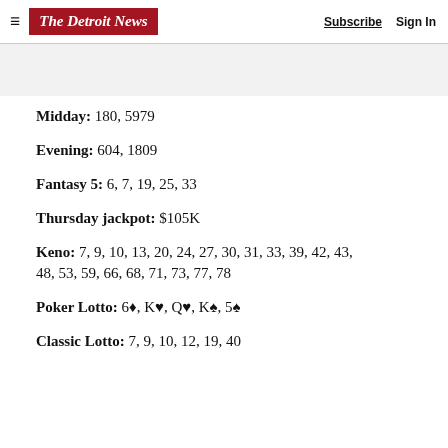The Detroit News — Subscribe | Sign In
Midday: 180, 5979
Evening: 604, 1809
Fantasy 5: 6, 7, 19, 25, 33
Thursday jackpot: $105K
Keno: 7, 9, 10, 13, 20, 24, 27, 30, 31, 33, 39, 42, 43, 48, 53, 59, 66, 68, 71, 73, 77, 78
Poker Lotto: 6♦, K♥, Q♥, K♠, 5♠
Classic Lotto: 7, 9, 10, 12, 19, 40